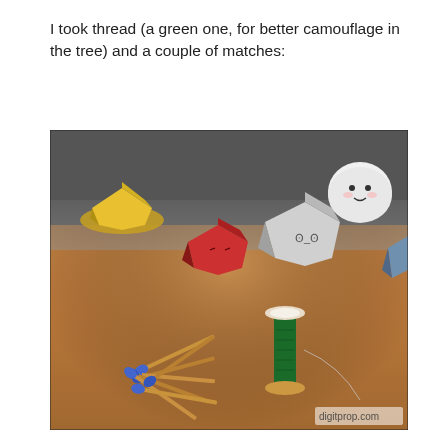I took thread (a green one, for better camouflage in the tree) and a couple of matches:
[Figure (photo): A wooden table with several paper polyhedron characters (a yellow one on a plate, a red one, a grey/white one, a white round-faced one, and a blue one at right). In the foreground: a spool of green thread and a small pile of matchsticks with blue tips. Watermark 'digitprop.com' in bottom-right corner.]